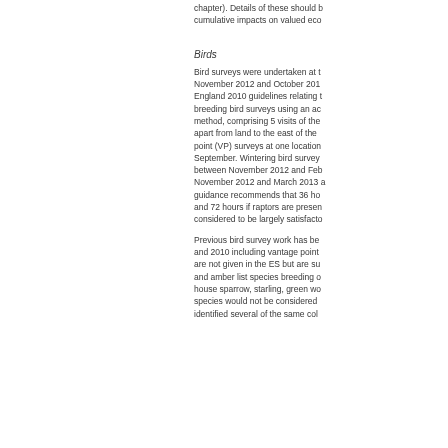chapter). Details of these should b... cumulative impacts on valued eco...
Birds
Bird surveys were undertaken at t... November 2012 and October 201... England 2010 guidelines relating t... breeding bird surveys using an ac... method, comprising 5 visits of the... apart from land to the east of the... point (VP) surveys at one location... September. Wintering bird survey... between November 2012 and Feb... November 2012 and March 2013 a... guidance recommends that 36 ho... and 72 hours if raptors are presen... considered to be largely satisfacto...
Previous bird survey work has be... and 2010 including vantage point... are not given in the ES but are su... and amber list species breeding o... house sparrow, starling, green wo... species would not be considered... identified several of the same col...